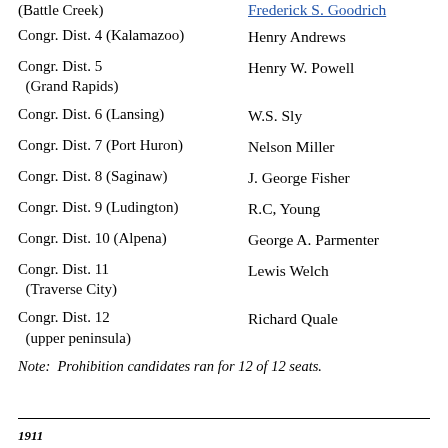(Battle Creek) — Frederick S. Goodrich
Congr. Dist. 4 (Kalamazoo) — Henry Andrews
Congr. Dist. 5 (Grand Rapids) — Henry W. Powell
Congr. Dist. 6 (Lansing) — W.S. Sly
Congr. Dist. 7 (Port Huron) — Nelson Miller
Congr. Dist. 8 (Saginaw) — J. George Fisher
Congr. Dist. 9 (Ludington) — R.C, Young
Congr. Dist. 10 (Alpena) — George A. Parmenter
Congr. Dist. 11 (Traverse City) — Lewis Welch
Congr. Dist. 12 (upper peninsula) — Richard Quale
Note:  Prohibition candidates ran for 12 of 12 seats.
1911